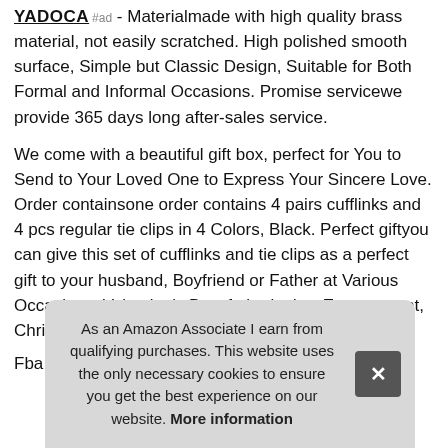YADOCA #ad - Materialmade with high quality brass material, not easily scratched. High polished smooth surface, Simple but Classic Design, Suitable for Both Formal and Informal Occasions. Promise servicewe provide 365 days long after-sales service.
We come with a beautiful gift box, perfect for You to Send to Your Loved One to Express Your Sincere Love. Order containsone order contains 4 pairs cufflinks and 4 pcs regular tie clips in 4 Colors, Black. Perfect giftyou can give this set of cufflinks and tie clips as a perfect gift to your husband, Boyfriend or Father at Various Occasions: Valentine's Day, father's day, Engagement, Christmas, Anniversary, Wedding etc.
Fba
As an Amazon Associate I earn from qualifying purchases. This website uses the only necessary cookies to ensure you get the best experience on our website. More information